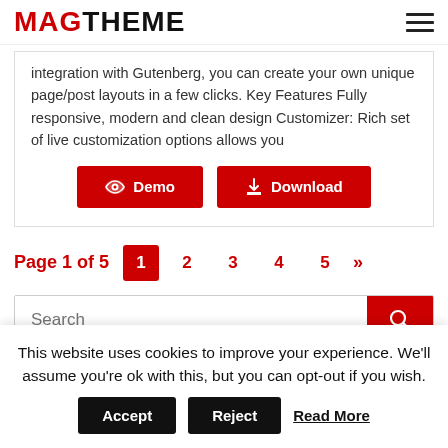MAGTHEME
integration with Gutenberg, you can create your own unique page/post layouts in a few clicks. Key Features Fully responsive, modern and clean design Customizer: Rich set of live customization options allows you
Demo   Download
Page 1 of 5   1   2   3   4   5   »
Search
This website uses cookies to improve your experience. We'll assume you're ok with this, but you can opt-out if you wish. Accept   Reject   Read More